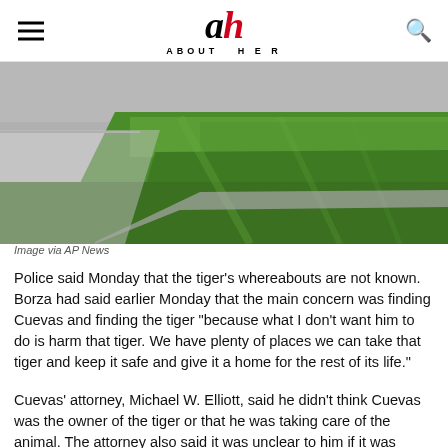About Her
[Figure (photo): Close-up photo of green grass lawn next to a concrete sidewalk, viewed from low angle]
Image via AP News
Police said Monday that the tiger’s whereabouts are not known. Borza had said earlier Monday that the main concern was finding Cuevas and finding the tiger "because what I don't want him to do is harm that tiger. We have plenty of places we can take that tiger and keep it safe and give it a home for the rest of its life."
Cuevas’ attorney, Michael W. Elliott, said he didn’t think Cuevas was the owner of the tiger or that he was taking care of the animal. The attorney also said it was unclear to him if it was